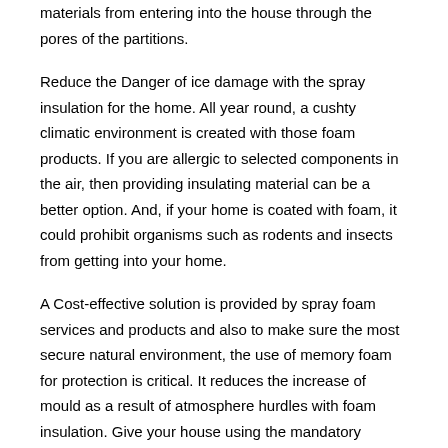materials from entering into the house through the pores of the partitions.
Reduce the Danger of ice damage with the spray insulation for the home. All year round, a cushty climatic environment is created with those foam products. If you are allergic to selected components in the air, then providing insulating material can be a better option. And, if your home is coated with foam, it could prohibit organisms such as rodents and insects from getting into your home.
A Cost-effective solution is provided by spray foam services and products and also to make sure the most secure natural environment, the use of memory foam for protection is critical. It reduces the increase of mould as a result of atmosphere hurdles with foam insulation. Give your house using the mandatory insulating material with spray and ensure the protection is cost-effective and long-lasting. Encounter a superior temperature all throughout this year using spray foam insulation.